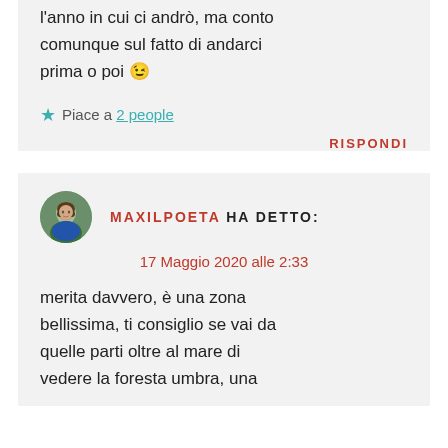l'anno in cui ci andrò, ma conto comunque sul fatto di andarci prima o poi 😉
Piace a 2 people
RISPONDI
MAXILPOETA HA DETTO:
17 Maggio 2020 alle 2:33
merita davvero, è una zona bellissima, ti consiglio se vai da quelle parti oltre al mare di vedere la foresta umbra, una